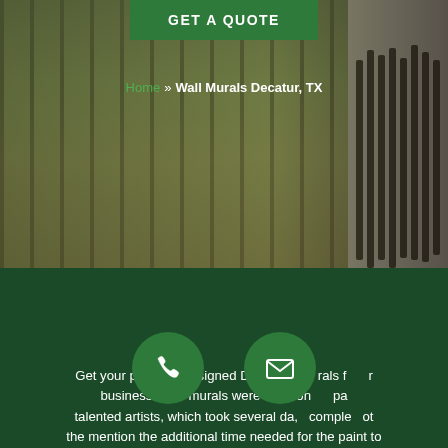[Figure (photo): Hero banner showing two images: left side is a forest/autumn woodland scene with trees, right side shows a wall with vertical dark wooden slat art installation. A dark semi-transparent overlay covers both images.]
GET A QUOTE
Home » Wall Murals Decatur, TX
Get your perfectly designed Decatur w...rals f... business. Wall murals were tradition...pa... talented artists, which took several da,...comple...ot the mention the additional time needed for the paint to